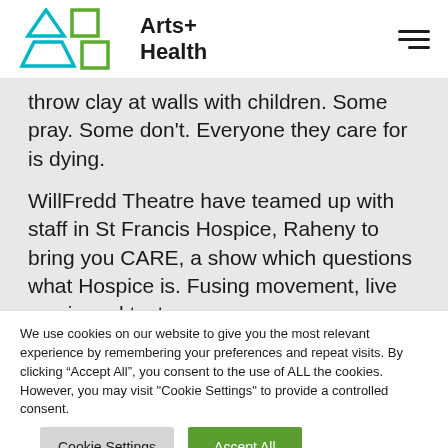[Figure (logo): Arts+ Health logo with cyan triangle and trapezoid icons, green square icons, and bold text reading Arts+ Health]
throw clay at walls with children. Some pray. Some don't. Everyone they care for is dying.
WillFredd Theatre have teamed up with staff in St Francis Hospice, Raheny to bring you CARE, a show which questions what Hospice is. Fusing movement, live music and text, every
We use cookies on our website to give you the most relevant experience by remembering your preferences and repeat visits. By clicking “Accept All”, you consent to the use of ALL the cookies. However, you may visit "Cookie Settings" to provide a controlled consent.
Cookie Settings
Accept All